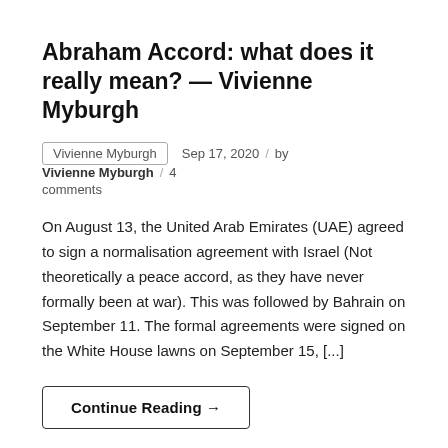Abraham Accord: what does it really mean? — Vivienne Myburgh
Vivienne Myburgh   Sep 17, 2020  /  by Vivienne Myburgh  /  4 comments
On August 13, the United Arab Emirates (UAE) agreed to sign a normalisation agreement with Israel (Not theoretically a peace accord, as they have never formally been at war). This was followed by Bahrain on September 11. The formal agreements were signed on the White House lawns on September 15, [...]
Continue Reading →